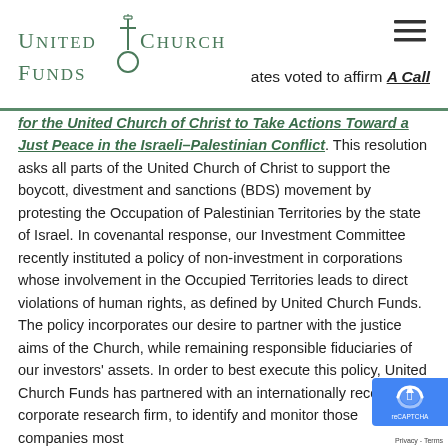United Church Funds
ates voted to affirm A Call for the United Church of Christ to Take Actions Toward a Just Peace in the Israeli-Palestinian Conflict. This resolution asks all parts of the United Church of Christ to support the boycott, divestment and sanctions (BDS) movement by protesting the Occupation of Palestinian Territories by the state of Israel. In covenantal response, our Investment Committee recently instituted a policy of non-investment in corporations whose involvement in the Occupied Territories leads to direct violations of human rights, as defined by United Church Funds. The policy incorporates our desire to partner with the justice aims of the Church, while remaining responsible fiduciaries of our investors' assets. In order to best execute this policy, United Church Funds has partnered with an internationally recognized corporate research firm, to identify and monitor those companies most